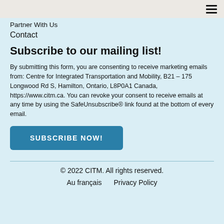Partner With Us
Contact
Subscribe to our mailing list!
By submitting this form, you are consenting to receive marketing emails from: Centre for Integrated Transportation and Mobility, B21 – 175 Longwood Rd S, Hamilton, Ontario, L8P0A1 Canada, https://www.citm.ca. You can revoke your consent to receive emails at any time by using the SafeUnsubscribe® link found at the bottom of every email.
SUBSCRIBE NOW!
© 2022 CITM. All rights reserved.
Au français   Privacy Policy